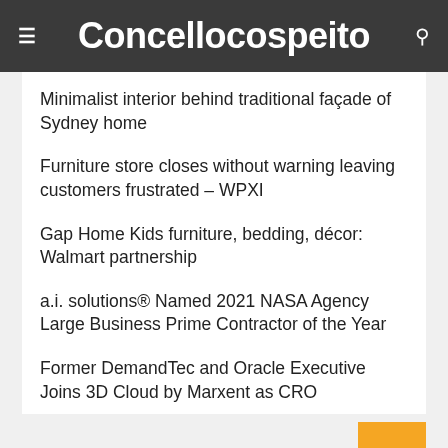Concellocospeito
Minimalist interior behind traditional façade of Sydney home
Furniture store closes without warning leaving customers frustrated – WPXI
Gap Home Kids furniture, bedding, décor: Walmart partnership
a.i. solutions® Named 2021 NASA Agency Large Business Prime Contractor of the Year
Former DemandTec and Oracle Executive Joins 3D Cloud by Marxent as CRO
Archives
We use cookies on our website to give you the most relevant